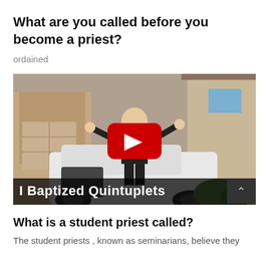What are you called before you become a priest?
ordained
[Figure (screenshot): YouTube video thumbnail showing a person in black priest attire sitting on the hood of a white Jeep with arms spread wide, in front of a brick house. A red YouTube play button is overlaid in the center. The bottom of the thumbnail shows white bold text 'I Baptized Quintuplets' on a dark translucent bar.]
What is a student priest called?
The student priests , known as seminarians, believe they